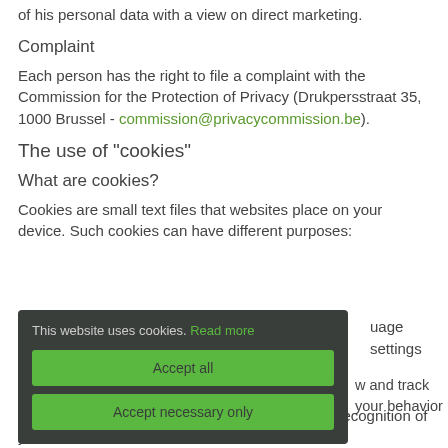of his personal data with a view on direct marketing.
Complaint
Each person has the right to file a complaint with the Commission for the Protection of Privacy (Drukpersstraat 35, 1000 Brussel - commission@privacycommission.be).
The use of "cookies"
What are cookies?
Cookies are small text files that websites place on your device. Such cookies can have different purposes:
[Figure (screenshot): Cookie consent banner with dark background showing: 'This website uses cookies. Read more' with two green buttons: 'Accept all' and 'Accept necessary only']
A cookie contains a unique code that allows the recognition of your